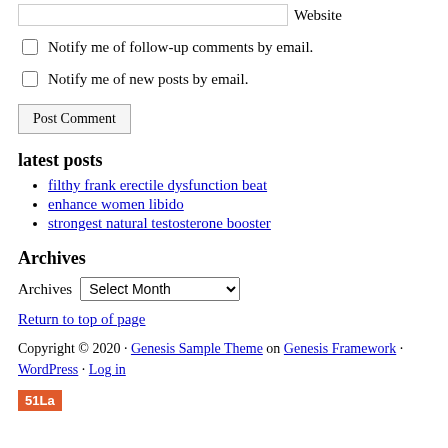Website (input field)
Notify me of follow-up comments by email.
Notify me of new posts by email.
Post Comment (button)
latest posts
filthy frank erectile dysfunction beat
enhance women libido
strongest natural testosterone booster
Archives
Archives  Select Month
Return to top of page
Copyright © 2020 · Genesis Sample Theme on Genesis Framework · WordPress · Log in
51La